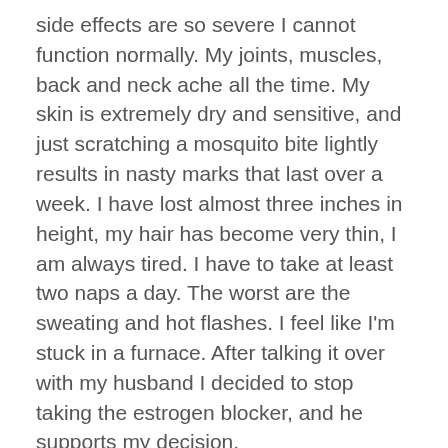side effects are so severe I cannot function normally. My joints, muscles, back and neck ache all the time. My skin is extremely dry and sensitive, and just scratching a mosquito bite lightly results in nasty marks that last over a week. I have lost almost three inches in height, my hair has become very thin, I am always tired. I have to take at least two naps a day. The worst are the sweating and hot flashes. I feel like I'm stuck in a furnace. After talking it over with my husband I decided to stop taking the estrogen blocker, and he supports my decision.
My breast cancer was detected very early, was diagnosed as non-aggressive, and radiation was suggested. I endured the radiation and started taking the estrogen blocker after